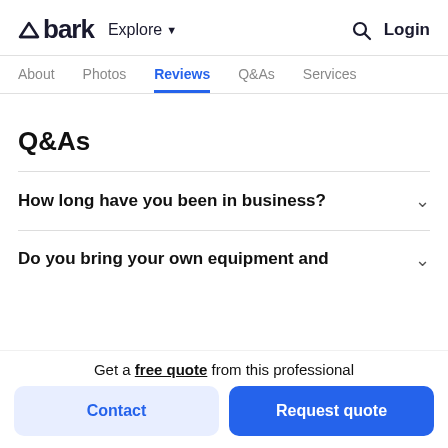bark  Explore  Login
About  Photos  Reviews  Q&As  Services
Q&As
How long have you been in business?
Do you bring your own equipment and
Get a free quote from this professional
Contact
Request quote